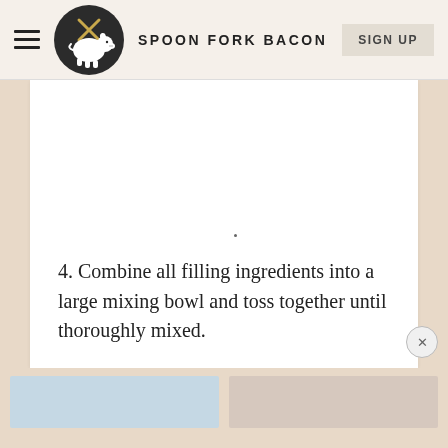SPOON FORK BACON
[Figure (other): White content area with a single small dot in the center, representing a recipe image placeholder]
4. Combine all filling ingredients into a large mixing bowl and toss together until thoroughly mixed.